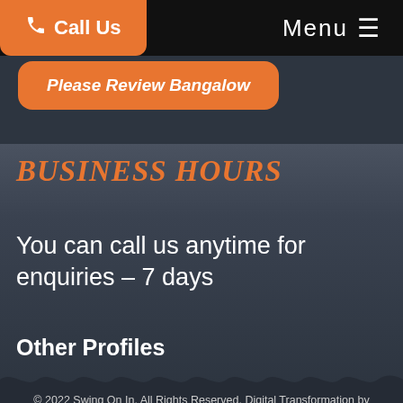Call Us   Menu
Please Review Bangalow
BUSINESS HOURS
You can call us anytime for enquiries – 7 days
Other Profiles
© 2022 Swing On In. All Rights Reserved. Digital Transformation by POSITIVE BUSINESS ONLINE
TESTIMONIALS   PRIVACY POLICY